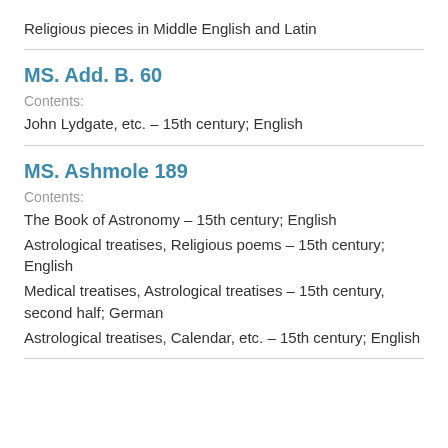Religious pieces in Middle English and Latin
MS. Add. B. 60
Contents:
John Lydgate, etc. – 15th century; English
MS. Ashmole 189
Contents:
The Book of Astronomy – 15th century; English
Astrological treatises, Religious poems – 15th century; English
Medical treatises, Astrological treatises – 15th century, second half; German
Astrological treatises, Calendar, etc. – 15th century; English